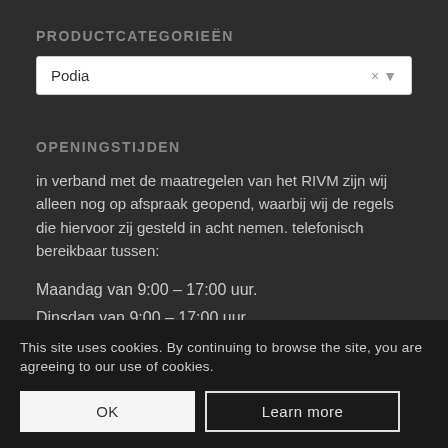PRODUCTCATEGORIEËN
[Figure (screenshot): Dropdown selector with 'Podia' selected, showing × and ▼ controls on white background]
OPENINGSTIJDEN
in verband met de maatregelen van het RIVM zijn wij alleen nog op afspraak geopend, waarbij wij de regels die hiervoor zij gesteld in acht nemen. telefonisch bereikbaar tussen:
Maandag van 9:00 – 17:00 uur.
Dinsdag van 9:00 – 17:00 uur.
Woensdag van 9:00 – 17:00 uur.
Donderdag van 9:00 – 17:00 uur.
Vrijdag van 9:00 – 17:00 uur.
Zaterdag gesloten.
Zondag gesloten.
This site uses cookies. By continuing to browse the site, you are agreeing to our use of cookies.